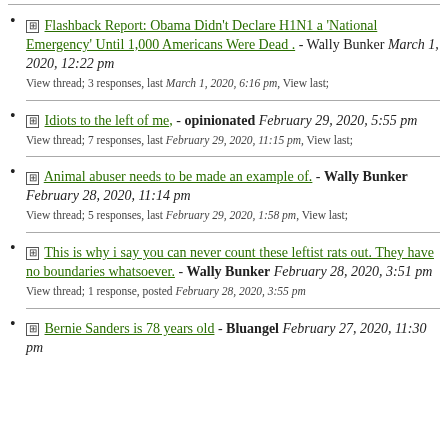Flashback Report: Obama Didn't Declare H1N1 a 'National Emergency' Until 1,000 Americans Were Dead . - Wally Bunker March 1, 2020, 12:22 pm
View thread; 3 responses, last March 1, 2020, 6:16 pm, View last;
Idiots to the left of me, - opinionated February 29, 2020, 5:55 pm
View thread; 7 responses, last February 29, 2020, 11:15 pm, View last;
Animal abuser needs to be made an example of. - Wally Bunker February 28, 2020, 11:14 pm
View thread; 5 responses, last February 29, 2020, 1:58 pm, View last;
This is why i say you can never count these leftist rats out. They have no boundaries whatsoever. - Wally Bunker February 28, 2020, 3:51 pm
View thread; 1 response, posted February 28, 2020, 3:55 pm
Bernie Sanders is 78 years old - Bluangel February 27, 2020, 11:30 pm